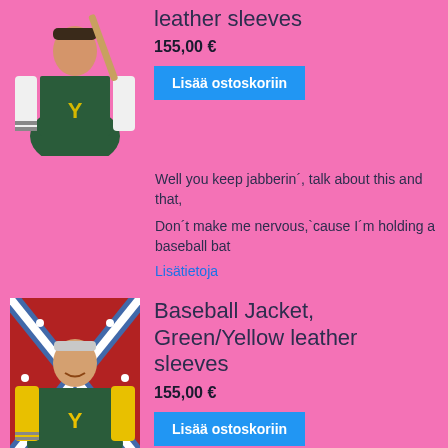[Figure (photo): Man wearing green baseball jacket with white leather sleeves and Y letter, holding a baseball bat, pink background]
leather sleeves
155,00 €
Lisää ostoskoriin
Well you keep jabberin´, talk about this and that,
Don´t make me nervous,`cause I´m holding a baseball bat
Lisätietoja
[Figure (photo): Man wearing green baseball jacket with yellow leather sleeves and Y letter, standing in front of a Confederate flag]
Baseball Jacket, Green/Yellow leather sleeves
155,00 €
Lisää ostoskoriin